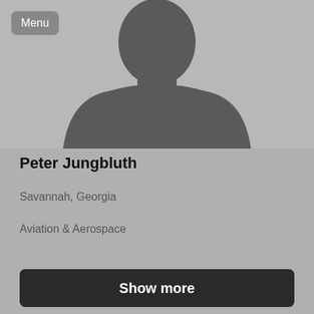[Figure (illustration): Generic silhouette avatar placeholder image showing a faceless person bust in dark gray against a light gray background]
Peter Jungbluth
Savannah, Georgia
Aviation & Aerospace
Show more